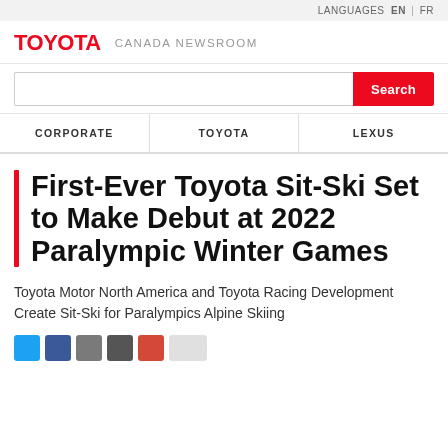LANGUAGES  EN | FR
TOYOTA  CANADA NEWSROOM
[Figure (screenshot): Search input box with red Search button]
CORPORATE   TOYOTA   LEXUS
First-Ever Toyota Sit-Ski Set to Make Debut at 2022 Paralympic Winter Games
Toyota Motor North America and Toyota Racing Development Create Sit-Ski for Paralympics Alpine Skiing
[Figure (infographic): Social share buttons: Twitter, Facebook, LinkedIn, Email, Google+, Share]